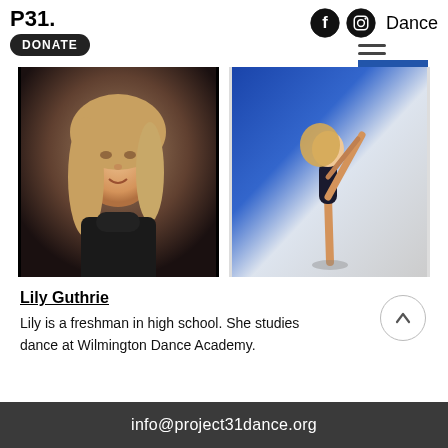P31. DONATE
[Figure (photo): Headshot of a young blonde girl in a black turtleneck, smiling, with warm brown and dark background]
[Figure (photo): Full body photo of a dancer in a black leotard performing a standing split/scorpion pose against a blue and white draped backdrop]
Lily Guthrie
Lily is a freshman in high school. She studies dance at Wilmington Dance Academy.
info@project31dance.org